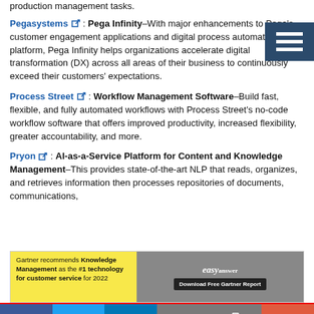production management tasks.
Pegasystems: Pega Infinity–With major enhancements to Pega's customer engagement applications and digital process automation (DPA) platform, Pega Infinity helps organizations accelerate digital transformation (DX) across all areas of their business to continuously exceed their customers' expectations.
Process Street: Workflow Management Software–Build fast, flexible, and fully automated workflows with Process Street's no-code workflow software that offers improved productivity, increased flexibility, greater accountability, and more.
Pryon: AI-as-a-Service Platform for Content and Knowledge Management–This provides state-of-the-art NLP that reads, organizes, and retrieves information then processes repositories of documents, communications,
[Figure (infographic): Advertisement banner: Gartner recommends Knowledge Management as the #1 technology for customer service for 2022. Download Free Gartner Report. EasyAnswer logo.]
[Figure (infographic): Social sharing bar with Facebook, Twitter, LinkedIn, Email, Print, and More buttons.]